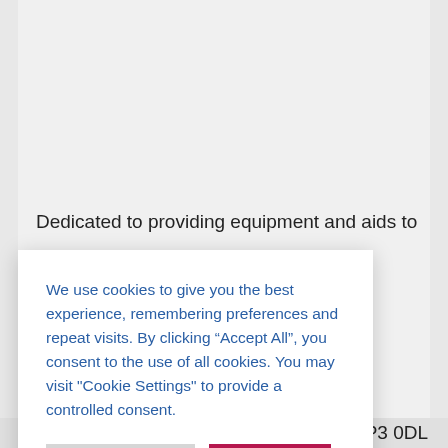Dedicated to providing equipment and aids to
We use cookies to give you the best experience, remembering preferences and repeat visits. By clicking “Accept All”, you consent to the use of all cookies. You may visit "Cookie Settings" to provide a controlled consent.
P3 0DL